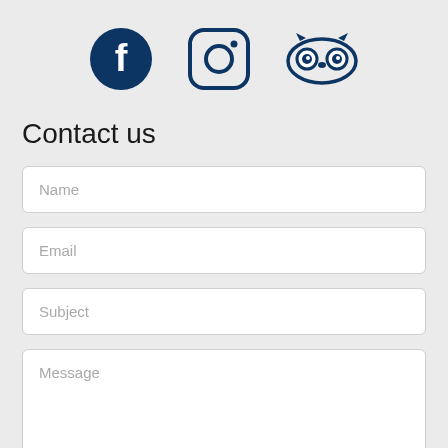[Figure (illustration): Three social media icons in dark navy blue: Facebook (circle with f), Instagram (rounded square with camera), and TripAdvisor (owl face)]
Contact us
Name
Email
Subject
Message